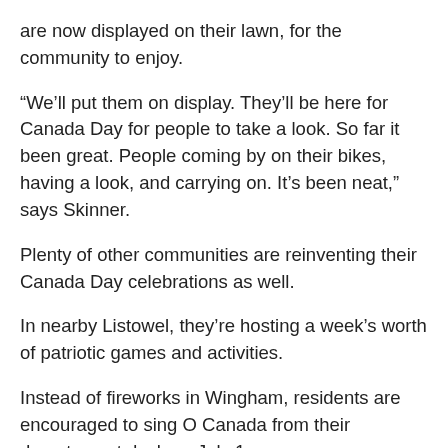are now displayed on their lawn, for the community to enjoy.
“We’ll put them on display. They’ll be here for Canada Day for people to take a look. So far it been great. People coming by on their bikes, having a look, and carrying on. It’s been neat,” says Skinner.
Plenty of other communities are reinventing their Canada Day celebrations as well.
In nearby Listowel, they’re hosting a week’s worth of patriotic games and activities.
Instead of fireworks in Wingham, residents are encouraged to sing O Canada from their doorsteps at dusk on July 1.
In Grand Bend, the community is hosting a drive-in concert and movie at the Starlite drive-in.